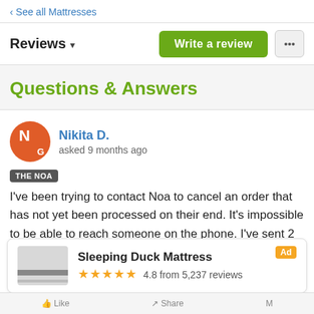‹ See all Mattresses
Reviews ▾
Write a review
Questions & Answers
Nikita D.
asked 9 months ago
THE NOA
I've been trying to contact Noa to cancel an order that has not yet been processed on their end. It's impossible to be able to reach someone on the phone. I've sent 2 emails and I am finding their
Sleeping Duck Mattress
★★★★★ 4.8 from 5,237 reviews
Ad